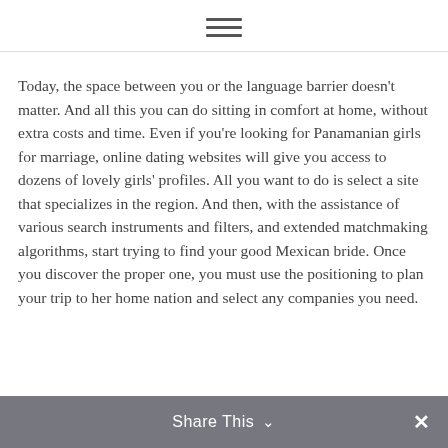≡
Today, the space between you or the language barrier doesn't matter. And all this you can do sitting in comfort at home, without extra costs and time. Even if you're looking for Panamanian girls for marriage, online dating websites will give you access to dozens of lovely girls' profiles. All you want to do is select a site that specializes in the region. And then, with the assistance of various search instruments and filters, and extended matchmaking algorithms, start trying to find your good Mexican bride. Once you discover the proper one, you must use the positioning to plan your trip to her home nation and select any companies you need.
Share This ∨  ✕